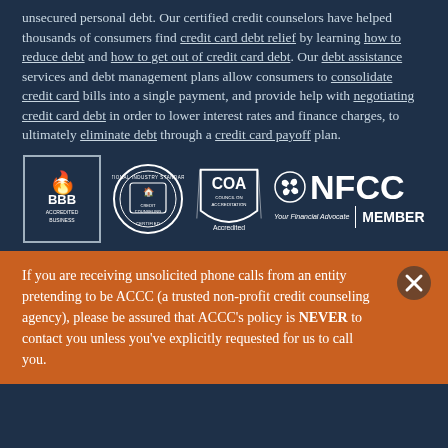unsecured personal debt. Our certified credit counselors have helped thousands of consumers find credit card debt relief by learning how to reduce debt and how to get out of credit card debt. Our debt assistance services and debt management plans allow consumers to consolidate credit card bills into a single payment, and provide help with negotiating credit card debt in order to lower interest rates and finance charges, to ultimately eliminate debt through a credit card payoff plan.
[Figure (logo): Four accreditation logos: BBB Accredited Business, National Industry Standards seal, COA Council on Accreditation Accredited, and NFCC Your Financial Advocate Member]
If you are receiving unsolicited phone calls from an entity pretending to be ACCC (a trusted non-profit credit counseling agency), please be assured that ACCC's policy is NEVER to contact you unless you've explicitly requested for us to call you.